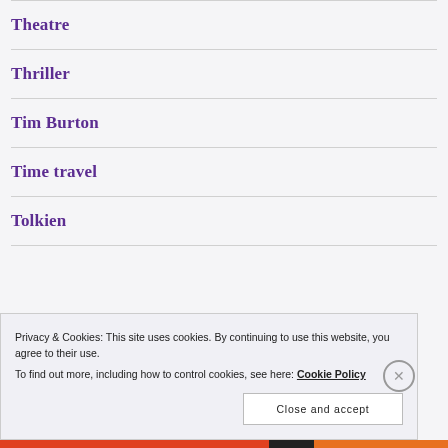Theatre
Thriller
Tim Burton
Time travel
Tolkien
Privacy & Cookies: This site uses cookies. By continuing to use this website, you agree to their use.
To find out more, including how to control cookies, see here: Cookie Policy
Close and accept